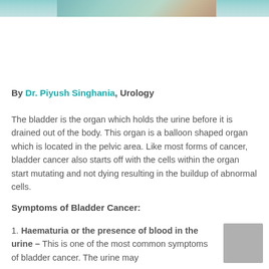[Figure (photo): Partial photograph of a person at the top of the page, cropped to a banner strip]
By Dr. Piyush Singhania, Urology
The bladder is the organ which holds the urine before it is drained out of the body. This organ is a balloon shaped organ which is located in the pelvic area. Like most forms of cancer, bladder cancer also starts off with the cells within the organ start mutating and not dying resulting in the buildup of abnormal cells.
Symptoms of Bladder Cancer:
1. Haematuria or the presence of blood in the urine – This is one of the most common symptoms of bladder cancer. The urine may